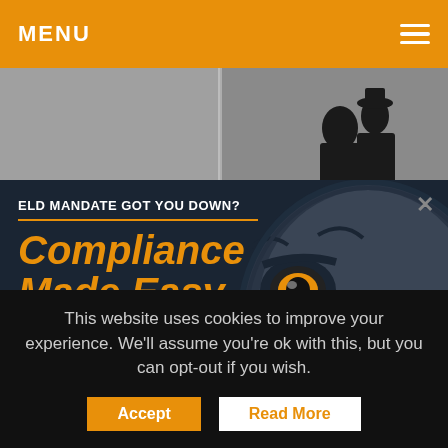MENU
[Figure (illustration): Hero image area with silhouettes of people in dark grey]
[Figure (infographic): Advertisement overlay with dark navy background and lion face illustration. Text: ELD MANDATE GOT YOU DOWN? / COMPLIANCE MADE EASY / FULLY COMPLIANT & AWARD WINNING FLEET MANAGEMENT SYSTEM / SIGN UP button]
This website uses cookies to improve your experience. We'll assume you're ok with this, but you can opt-out if you wish.
Accept
Read More